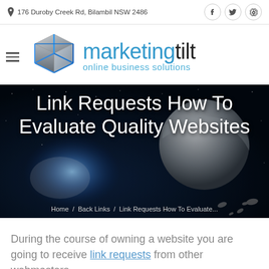176 Duroby Creek Rd, Bilambil NSW 2486
[Figure (logo): Marketing Tilt logo with 3D cube and text 'marketingtilt online business solutions']
[Figure (photo): Space/galaxy hero banner image with planet and star field]
Link Requests How To Evaluate Quality Websites
Home / Back Links / Link Requests How To Evaluate...
During the course of owning a website you are going to receive link requests from other webmasters.